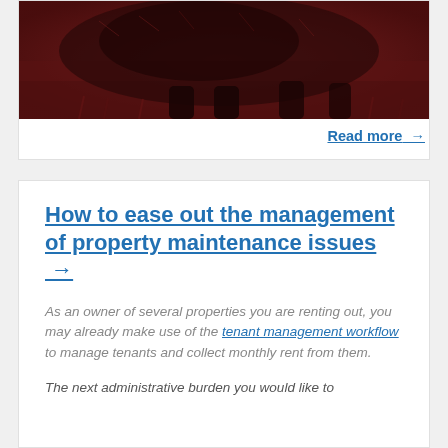[Figure (photo): Partial view of a dark reddish-brown animal (likely a bear or large mammal) on grass, shown from mid-body down, with a dusky red/brown color treatment.]
Read more →
How to ease out the management of property maintenance issues →
As an owner of several properties you are renting out, you may already make use of the tenant management workflow to manage tenants and collect monthly rent from them.
The next administrative burden you would like to